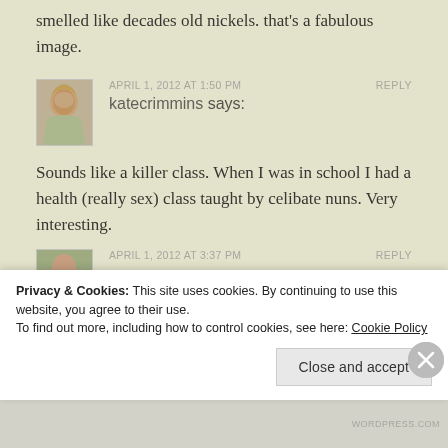smelled like decades old nickels. that's a fabulous image.
APRIL 1, 2012 AT 1:50 PM   REPLY
katecrimmins says:
Sounds like a killer class. When I was in school I had a health (really sex) class taught by celibate nuns. Very interesting.
APRIL 1, 2012 AT 3:37 PM   REPLY
Privacy & Cookies: This site uses cookies. By continuing to use this website, you agree to their use.
To find out more, including how to control cookies, see here: Cookie Policy
Close and accept